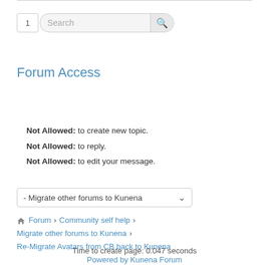1  Search
Forum Access
Not Allowed: to create new topic.
Not Allowed: to reply.
Not Allowed: to edit your message.
- Migrate other forums to Kunena
Forum > Community self help > Migrate other forums to Kunena > Re-Migrate Avatars from CB back to Kunena
Time to create page: 0.047 seconds
Powered by Kunena Forum